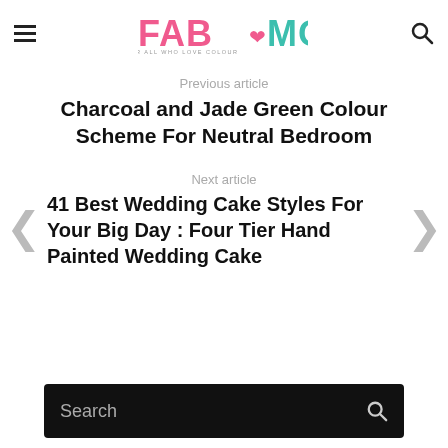FAB MOOD - FOR ALL WHO LOVE COLOUR
Previous article
Charcoal and Jade Green Colour Scheme For Neutral Bedroom
Next article
41 Best Wedding Cake Styles For Your Big Day : Four Tier Hand Painted Wedding Cake
Search